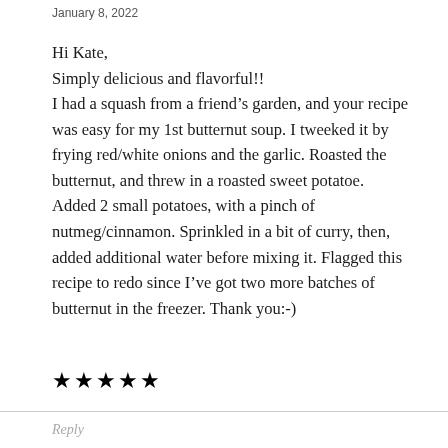January 8, 2022
Hi Kate,
Simply delicious and flavorful!!
I had a squash from a friend’s garden, and your recipe was easy for my 1st butternut soup. I tweeked it by frying red/white onions and the garlic. Roasted the butternut, and threw in a roasted sweet potatoe. Added 2 small potatoes, with a pinch of nutmeg/cinnamon. Sprinkled in a bit of curry, then, added additional water before mixing it. Flagged this recipe to redo since I’ve got two more batches of butternut in the freezer. Thank you:-)
★★★★★
Reply